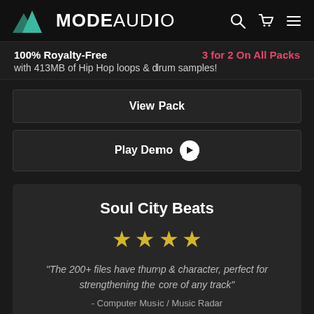MODE AUDIO
100% Royalty-Free  3 for 2 On All Packs
with 413MB of Hip Hop loops & drum samples!
View Pack
Play Demo
Soul City Beats
★★★★
"The 200+ files have thump & character, perfect for strengthening the core of any track"
- Computer Music / Music Radar